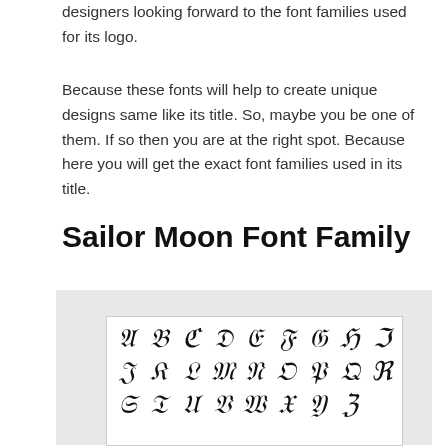designers looking forward to the font families used for its logo.
Because these fonts will help to create unique designs same like its title. So, maybe you be one of them. If so then you are at the right spot. Because here you will get the exact font families used in its title.
Sailor Moon Font Family
[Figure (illustration): A specimen image showing the Sailor Moon decorative font family alphabet. Three rows of stylized gothic/decorative uppercase letters: Row 1: A B C D E F G H I, Row 2: J K L M N O P Q R, Row 3: S T U V W X Y Z]